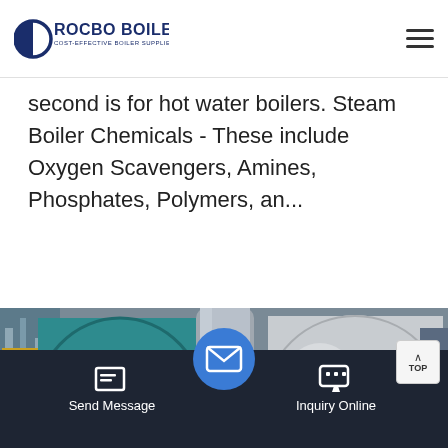ROCBO BOILER - COST-EFFECTIVE BOILER SUPPLIER
second is for hot water boilers. Steam Boiler Chemicals - These include Oxygen Scavengers, Amines, Phosphates, Polymers, an...
[Figure (photo): Industrial boiler equipment in a factory setting, showing large blue cylindrical boilers with piping and a central large cylindrical flue/stack]
Send Message | Inquiry Online